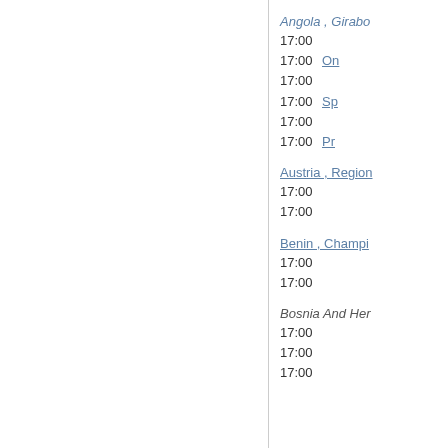Angola , Girabo
17:00
17:00  On
17:00
17:00  Sp
17:00
17:00  Pr
Austria , Region
17:00
17:00
Benin , Champi
17:00
17:00
Bosnia And Her
17:00
17:00
17:00